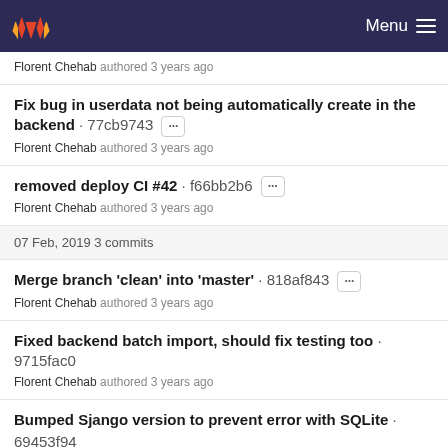Menu
Florent Chehab authored 3 years ago
Fix bug in userdata not being automatically create in the backend · 77cb9743 ··· Florent Chehab authored 3 years ago
removed deploy CI #42 · f66bb2b6 ··· Florent Chehab authored 3 years ago
07 Feb, 2019 3 commits
Merge branch 'clean' into 'master' · 818af843 ··· Florent Chehab authored 3 years ago
Fixed backend batch import, should fix testing too · 9715fac0 Florent Chehab authored 3 years ago
Bumped Sjango version to prevent error with SQLite · 69453f94 Florent Chehab authored 3 years ago